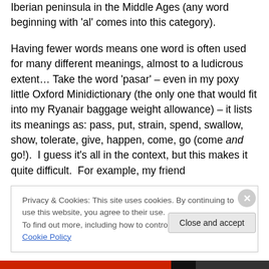Iberian peninsula in the Middle Ages (any word beginning with 'al' comes into this category).
Having fewer words means one word is often used for many different meanings, almost to a ludicrous extent… Take the word 'pasar' – even in my poxy little Oxford Minidictionary (the only one that would fit into my Ryanair baggage weight allowance) – it lists its meanings as: pass, put, strain, spend, swallow, show, tolerate, give, happen, come, go (come and go!).  I guess it's all in the context, but this makes it quite difficult.  For example, my friend
Privacy & Cookies: This site uses cookies. By continuing to use this website, you agree to their use.
To find out more, including how to control cookies, see here: Cookie Policy
Close and accept